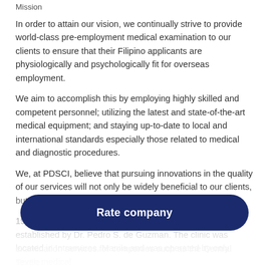Mission
In order to attain our vision, we continually strive to provide world-class pre-employment medical examination to our clients to ensure that their Filipino applicants are physiologically and psychologically fit for overseas employment.
We aim to accomplish this by employing highly skilled and competent personnel; utilizing the latest and state-of-the-art medical equipment; and staying up-to-date to local and international standards especially those related to medical and diagnostic procedures.
We, at PDSCI, believe that pursuing innovations in the quality of our services will not only be widely beneficial to our clients, but also to the Overseas Filipino Workers.
1978 – Physicians' Diagnostic Services Center (PDSC) was established by Dr. Pedro S. de Guzman. The clinic was located in Intramuros, Manila and was operated by only seven medical
examination services for companies such as the Central Textile